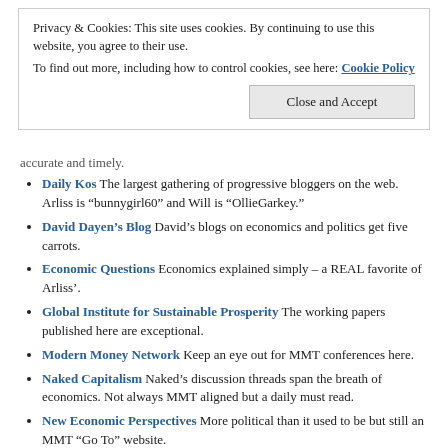Privacy & Cookies: This site uses cookies. By continuing to use this website, you agree to their use. To find out more, including how to control cookies, see here: Cookie Policy
Close and Accept
accurate and timely.
Daily Kos The largest gathering of progressive bloggers on the web. Arliss is “bunnygirl60” and Will is “OllieGarkey.”
David Dayen’s Blog David’s blogs on economics and politics get five carrots.
Economic Questions Economics explained simply – a REAL favorite of Arliss’.
Global Institute for Sustainable Prosperity The working papers published here are exceptional.
Modern Money Network Keep an eye out for MMT conferences here.
Naked Capitalism Naked’s discussion threads span the breath of economics. Not always MMT aligned but a daily must read.
New Economic Perspectives More political than it used to be but still an MMT “Go To” website.
The Guardian Give up on American mainstream media. Seriously. The Guardian isn’t perfect but it sure puts the NY Times to shame.
The Levy Institute Exceptional research in economics is done at Levy and their publications are among the best available anywhere.